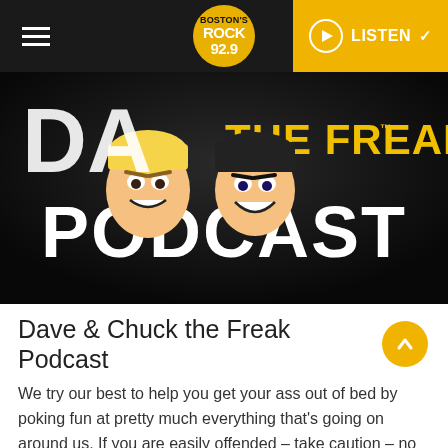Rock 92.9 navigation bar with hamburger menu, Rock 92.9 logo, and LISTEN button
[Figure (illustration): Dave & Chuck the Freak Podcast banner image with cartoon character faces and large text reading 'THE FREAK' in yellow and 'PODCAST' in white on black background]
Dave & Chuck the Freak Podcast
We try our best to help you get your ass out of bed by poking fun at pretty much everything that's going on around us. If you are easily offended – take caution – no one is safe from Dave & Chuck the Freak's wrath. That includes the President, the Pope, our significant others